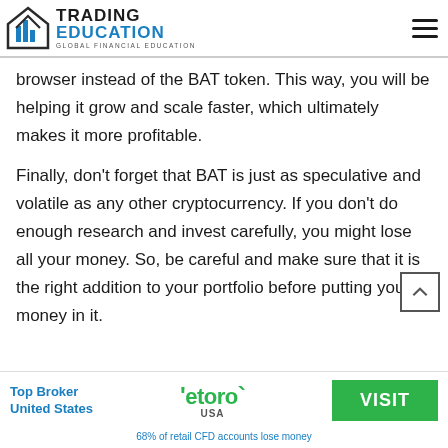Trading Education — Global Financial Education
browser instead of the BAT token. This way, you will be helping it grow and scale faster, which ultimately makes it more profitable.
Finally, don't forget that BAT is just as speculative and volatile as any other cryptocurrency. If you don't do enough research and invest carefully, you might lose all your money. So, be careful and make sure that it is the right addition to your portfolio before putting your money in it.
[Figure (logo): eToro USA logo with Visit button — Top Broker United States banner]
68% of retail CFD accounts lose money